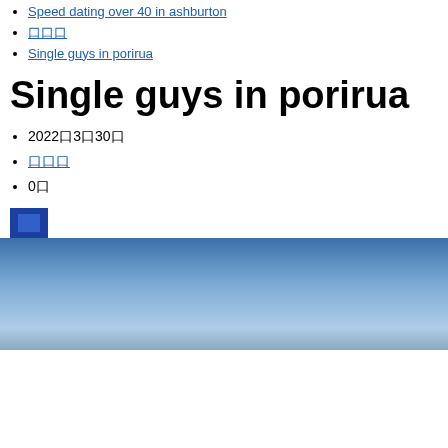Speed dating over 40 in ashburton
口口口
Single guys in porirua
Single guys in porirua
2022口3口30口
口口口
0口
[Figure (photo): Blue sky photograph used as header image]